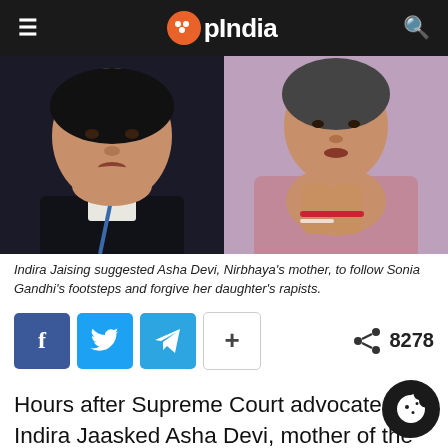OpIndia
[Figure (photo): Two side-by-side photos: left shows an elderly Indian woman in a dark blazer with a blue lanyard; right shows an elderly Indian woman in a mauve/pink sweater with hands folded in prayer gesture.]
Indira Jaising suggested Asha Devi, Nirbhaya's mother, to follow Sonia Gandhi's footsteps and forgive her daughter's rapists.
f  (Twitter bird)  (Telegram)  +   8278
Hours after Supreme Court advocate Indira Ja... asked Asha Devi, mother of the 2012 horrific Delhi gang rape victim, to follow Sonia Gandhi's footsteps